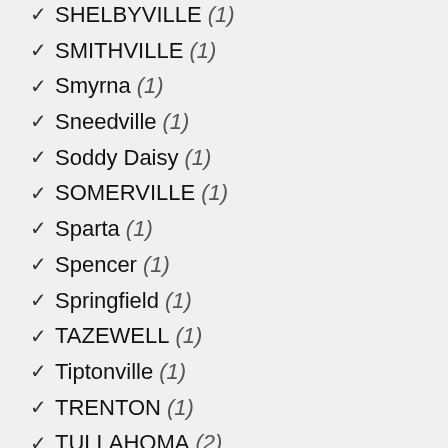SHELBYVILLE (1)
SMITHVILLE (1)
Smyrna (1)
Sneedville (1)
Soddy Daisy (1)
SOMERVILLE (1)
Sparta (1)
Spencer (1)
Springfield (1)
TAZEWELL (1)
Tiptonville (1)
TRENTON (1)
TULLAHOMA (2)
Union City (2)
Wartburg (1)